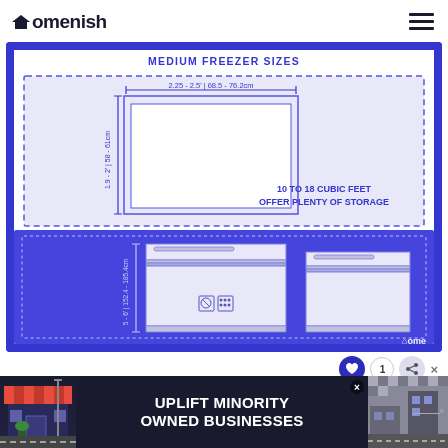Homenish
[Figure (engineering-diagram): Medium Freezer Sizes diagram showing top-view and front-view of chest freezers. Dimensions: 2.25 - 2.5' | 68.5 - 76.2cm wide, 1.9 - 2' | 58 - 61cm deep (top view), 5 - 6' | 152.4 - 185.4cm height (front view). Text: 10 TO 18 CUBIC FEET OFFER PLENTY OF STORAGE.]
10 TO 18 CUBIC FEET OFFER PLENTY OF STORAGE
[Figure (infographic): Advertisement banner: UPLIFT MINORITY OWNED BUSINESSES with store illustration on left and road/building on right]